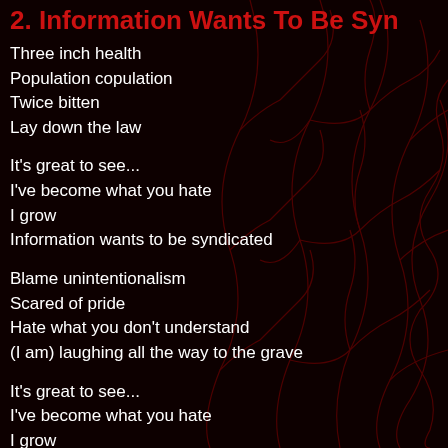2. Information Wants To Be Syn
Three inch health
Population copulation
Twice bitten
Lay down the law
It's great to see...
I've become what you hate
I grow
Information wants to be syndicated
Blame unintentionalism
Scared of pride
Hate what you don't understand
(I am) laughing all the way to the grave
It's great to see...
I've become what you hate
I grow
Information wants to be syndicated
Uninformed
Ill Informed
Comfortably dumb